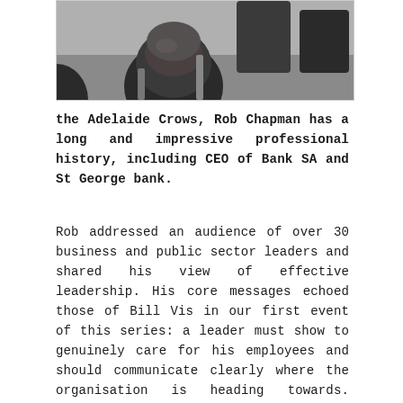[Figure (photo): Partial photo showing the back of a person's head and shoulders, with dark chairs or furniture visible in the background. The image is cropped at the top of the page.]
the Adelaide Crows, Rob Chapman has a long and impressive professional history, including CEO of Bank SA and St George bank.
Rob addressed an audience of over 30 business and public sector leaders and shared his view of effective leadership. His core messages echoed those of Bill Vis in our first event of this series: a leader must show to genuinely care for his employees and should communicate clearly where the organisation is heading towards. Effective leadership requires approachability and consistency in behaviour. Rob insists that in his view the distance between staff and management should be minimized, motivation